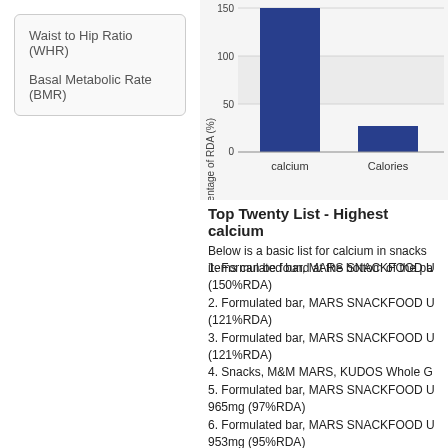Waist to Hip Ratio (WHR)
Basal Metabolic Rate (BMR)
[Figure (bar-chart): ]
Top Twenty List - Highest calcium
Below is a basic list for calcium in snacks items can be found at the bottom of the pa
1. Formulated bar, MARS SNACKFOOD U (150%RDA)
2. Formulated bar, MARS SNACKFOOD U (121%RDA)
3. Formulated bar, MARS SNACKFOOD U (121%RDA)
4. Snacks, M&M MARS, KUDOS Whole G
5. Formulated bar, MARS SNACKFOOD U 965mg (97%RDA)
6. Formulated bar, MARS SNACKFOOD U 953mg (95%RDA)
7. Snacks, M&M MARS, KUDOS Whole G
8. Formulated bar, LUNA BAR, NUTZ OW